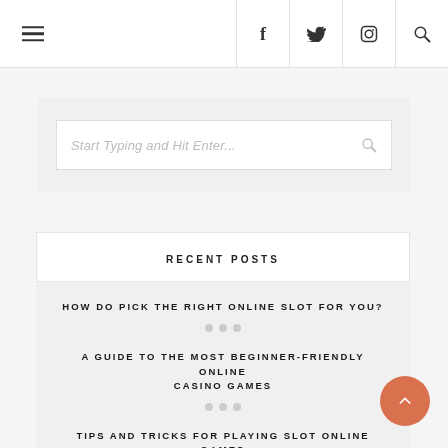Navigation bar with hamburger menu and social icons: Facebook, Twitter, Instagram, Search
Start Typing and Hit Enter...
RECENT POSTS
HOW DO PICK THE RIGHT ONLINE SLOT FOR YOU?
A GUIDE TO THE MOST BEGINNER-FRIENDLY ONLINE CASINO GAMES
TIPS AND TRICKS FOR PLAYING SLOT ONLINE GAMES